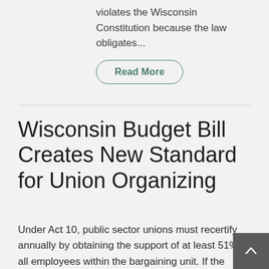violates the Wisconsin Constitution because the law obligates...
Read More
Wisconsin Budget Bill Creates New Standard for Union Organizing
Under Act 10, public sector unions must recertify annually by obtaining the support of at least 51% of all employees within the bargaining unit. If the union fails to receive such support, it will be decertified and